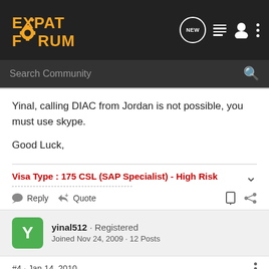[Figure (screenshot): Expat Forum logo in top navigation bar with orange text and gear icon]
[Figure (screenshot): Search Community bar with search icon]
Yinal, calling DIAC from Jordan is not possible, you must use skype.
Good Luck,
Visa Type : 175 CSL (SAP Specialist) - High Risk
Reply  Quote
yinal512 · Registered
Joined Nov 24, 2009 · 12 Posts
#4 · Jan 14, 2010